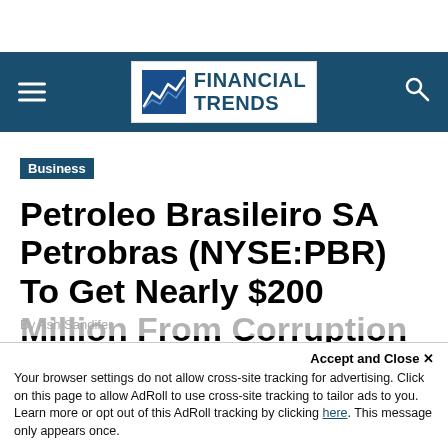FINANCIAL TRENDS
Business
Petroleo Brasileiro SA Petrobras (NYSE:PBR) To Get Nearly $200 Million From Corruption Repayments
By Ash Sandifer
Accept and Close ✕
Your browser settings do not allow cross-site tracking for advertising. Click on this page to allow AdRoll to use cross-site tracking to tailor ads to you. Learn more or opt out of this AdRoll tracking by clicking here. This message only appears once.